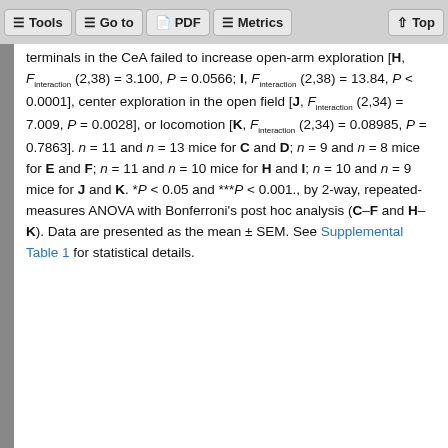Tools | Go to | PDF | Metrics | Top
terminals in the CeA failed to increase open-arm exploration [H, F_interaction (2,38) = 3.100, P = 0.0566; I, F_interaction (2,38) = 13.84, P < 0.0001], center exploration in the open field [J, F_interaction (2,34) = 7.009, P = 0.0028], or locomotion [K, F_interaction (2,34) = 0.08985, P = 0.7863]. n = 11 and n = 13 mice for C and D; n = 9 and n = 8 mice for E and F; n = 11 and n = 10 mice for H and I; n = 10 and n = 9 mice for J and K. *P < 0.05 and ***P < 0.001., by 2-way, repeated-measures ANOVA with Bonferroni's post hoc analysis (C–F and H–K). Data are presented as the mean ± SEM. See Supplemental Table 1 for statistical details.